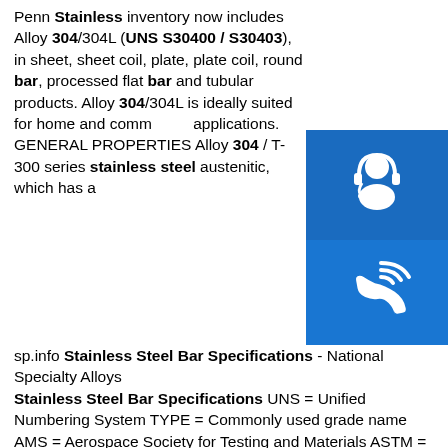Penn Stainless inventory now includes Alloy 304/304L (UNS S30400 / S30403), in sheet, sheet coil, plate, plate coil, round bar, processed flat bar and tubular products. Alloy 304/304L is ideally suited for home and commercial applications. GENERAL PROPERTIES Alloy 304 / T-300 series stainless steel austenitic, which has a
[Figure (infographic): Three blue square buttons with white icons: a headset/support icon, a phone/call icon, and a Skype icon, arranged vertically on the right side.]
sp.info Threaded Rod, 304 Stainless Steel - Fastenal Page 1 of 2 Fastenal Product Standard REV-05 Date: March 9, 2016 TROD.304 Threaded Rod, 304 Stainless Steel The information below lists the required dimensions, chemical and physical characteristics of the product for this purchase order.
sp.info Stainless Steel Bar Specifications - National Specialty Alloys
Stainless Steel Bar Specifications UNS = Unified Numbering System TYPE = Commonly used grade name AMS = Aerospace Society for Testing and Materials ASTM = American Society for Testing and Materials FEDERAL =